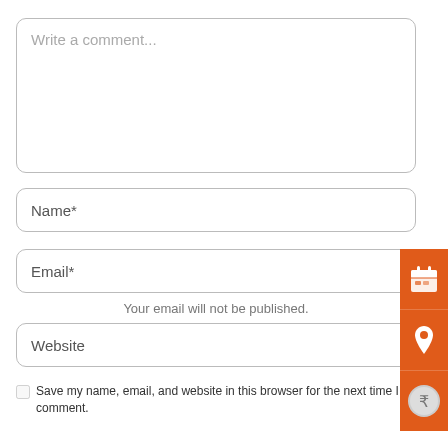Write a comment...
Name*
Email*
Your email will not be published.
Website
Save my name, email, and website in this browser for the next time I comment.